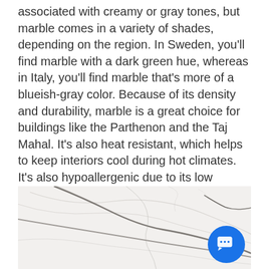associated with creamy or gray tones, but marble comes in a variety of shades, depending on the region. In Sweden, you'll find marble with a dark green hue, whereas in Italy, you'll find marble that's more of a blueish-gray color. Because of its density and durability, marble is a great choice for buildings like the Parthenon and the Taj Mahal. It's also heat resistant, which helps to keep interiors cool during hot climates. It's also hypoallergenic due to its low porosity. However, this stone is not recommended for heavy kitchen use; it's porous enough to stain easily, so you have to be careful when drinking wine or cooking with acids near it!
[Figure (photo): Close-up photo of white marble surface with dark gray veining patterns]